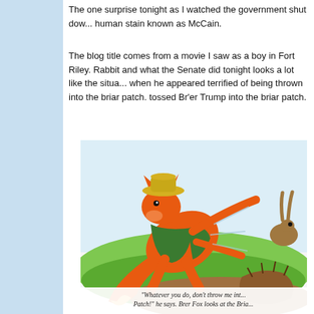The one surprise tonight as I watched the government shut dow... human stain known as McCain.
The blog title comes from a movie I saw as a boy in Fort Riley. Rabbit and what the Senate did tonight looks a lot like the situa... when he appeared terrified of being thrown into the briar patch. tossed Br'er Trump into the briar patch.
[Figure (illustration): Cartoon illustration of Brer Fox (an orange fox character in green jacket and hat) running or tumbling with Brer Rabbit. Text caption at bottom reads: "Whatever you do, don't throw me int... Patch!" he says. Brer Fox looks at the Bria...]